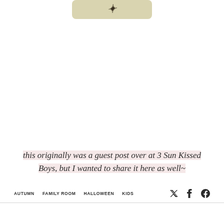[Figure (illustration): Partial view of a beige/tan rounded rectangle with a stylized stamp or logo mark visible at the top of the page]
this originally was a guest post over at 3 Sun Kissed Boys, but I wanted to share it here as well~
AUTUMN   FAMILY ROOM   HALLOWEEN   KIDS